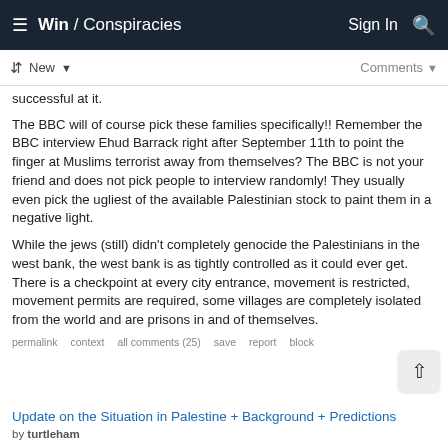≡  Win / Conspiracies    Sign In  🔍
↕  New ▾    Comments ▾
successful at it.
The BBC will of course pick these families specifically!! Remember the BBC interview Ehud Barrack right after September 11th to point the finger at Muslims terrorist away from themselves? The BBC is not your friend and does not pick people to interview randomly! They usually even pick the ugliest of the available Palestinian stock to paint them in a negative light.
While the jews (still) didn't completely genocide the Palestinians in the west bank, the west bank is as tightly controlled as it could ever get. There is a checkpoint at every city entrance, movement is restricted, movement permits are required, some villages are completely isolated from the world and are prisons in and of themselves.
permalink  context  all comments (25)  save  report  block
Update on the Situation in Palestine + Background + Predictions
by turtleham